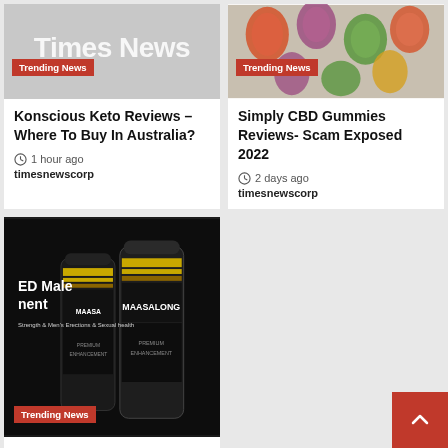[Figure (screenshot): News website screenshot showing article cards with trending news badges and site logo 'Times News']
Konscious Keto Reviews – Where To Buy In Australia?
1 hour ago
timesnewscorp
Simply CBD Gummies Reviews- Scam Exposed 2022
2 days ago
timesnewscorp
Maasalong Advanced Formula Reviews- Is
ED Male Enhancement